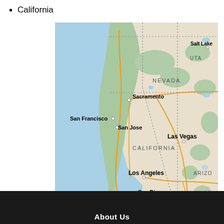California
[Figure (map): Google Maps view of California and surrounding states including Nevada, Utah, Arizona. Shows cities: Sacramento, San Francisco, San Jose, Las Vegas, Los Angeles, San Diego, Phoenix, Salt Lake (City). California state boundaries shown with dotted lines.]
About Us